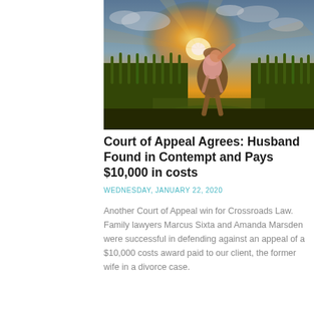[Figure (photo): A woman carrying a child on her back standing in a field of green crops at sunset, with golden light behind them and a partly cloudy sky.]
Court of Appeal Agrees: Husband Found in Contempt and Pays $10,000 in costs
WEDNESDAY, JANUARY 22, 2020
Another Court of Appeal win for Crossroads Law. Family lawyers Marcus Sixta and Amanda Marsden were successful in defending against an appeal of a $10,000 costs award paid to our client, the former wife in a divorce case.